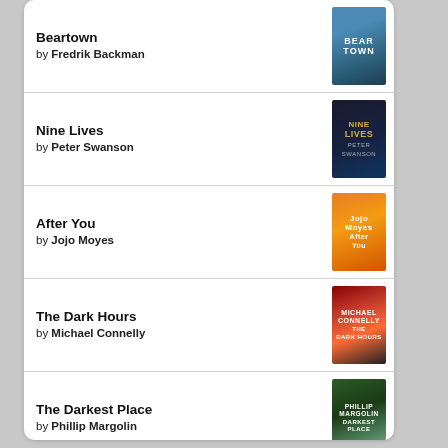Beartown by Fredrik Backman
Nine Lives by Peter Swanson
After You by Jojo Moyes
The Dark Hours by Michael Connelly
The Darkest Place by Phillip Margolin
goodreads®